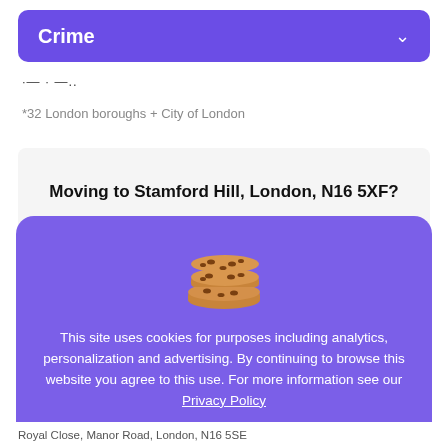Crime
·— · —..
*32 London boroughs + City of London
Moving to Stamford Hill, London, N16 5XF?
[Figure (illustration): Cookie emoji illustration (stack of chocolate chip cookies)]
This site uses cookies for purposes including analytics, personalization and advertising. By continuing to browse this website you agree to this use. For more information see our Privacy Policy
Got it
Royal Close, Manor Road, London, N16 5SE